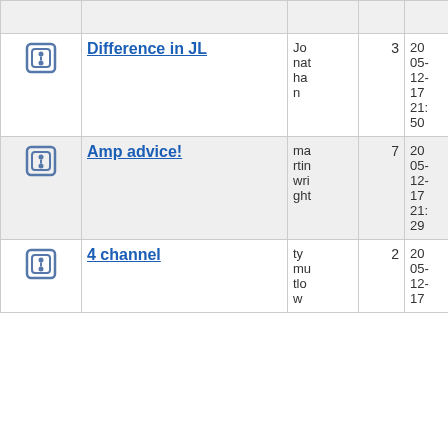| Icon | Topic | Author | Replies | Date |
| --- | --- | --- | --- | --- |
| [icon] | Difference in JL | Jonathan | 3 | 2005-12-17 21:50 |
| [icon] | Amp advice! | martinwright | 7 | 2005-12-17 21:29 |
| [icon] | 4 channel | tymutlow | 2 | 2005-12-17 |